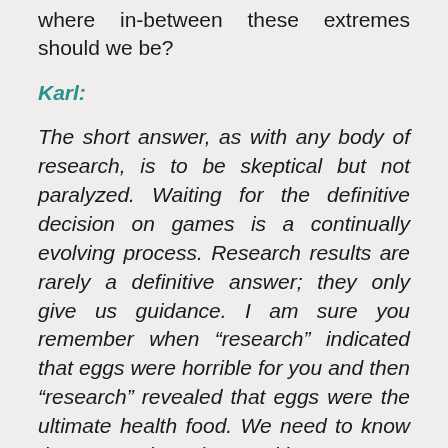where in-between these extremes should we be?
Karl:
The short answer, as with any body of research, is to be skeptical but not paralyzed. Waiting for the definitive decision on games is a continually evolving process. Research results are rarely a definitive answer; they only give us guidance. I am sure you remember when “research” indicated that eggs were horrible for you and then “research” revealed that eggs were the ultimate health food. We need to know that research evolves and is not